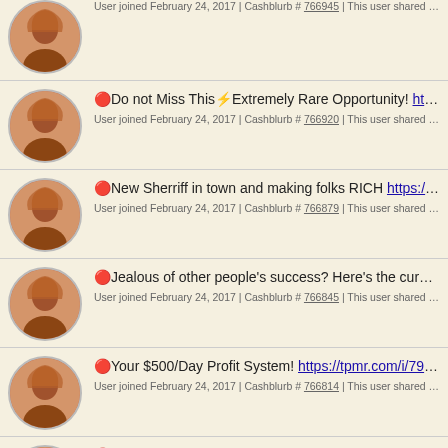User joined February 24, 2017 | Cashblurb # 766945 | This user shared cashb...
🔴Do not Miss This⚡Extremely Rare Opportunity! https://t... | User joined February 24, 2017 | Cashblurb # 766920
🔴New Sherriff in town and making folks RICH https://imir... | User joined February 24, 2017 | Cashblurb # 766879
🔴Jealous of other people's success? Here's the cure... ht... | User joined February 24, 2017 | Cashblurb # 766845
🔴Your $500/Day Profit System! https://tpmr.com/i/79084 | User joined February 24, 2017 | Cashblurb # 766814
🔴Jealous of other people's success? Here's the cure... ht...